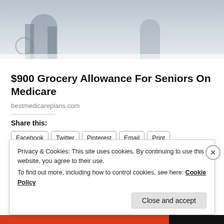[Figure (photo): Blurry background photo of people, appears to be seniors or medical context, partially visible at top of page]
$900 Grocery Allowance For Seniors On Medicare
bestmedicareplans.com
Share this:
Facebook  Twitter  Pinterest  Email  Print
Privacy & Cookies: This site uses cookies. By continuing to use this website, you agree to their use.
To find out more, including how to control cookies, see here: Cookie Policy
Close and accept